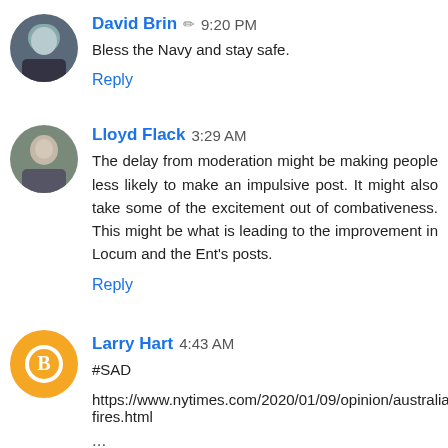David Brin ✏ 9:20 PM
Bless the Navy and stay safe.
Reply
Lloyd Flack 3:29 AM
The delay from moderation might be making people less likely to make an impulsive post. It might also take some of the excitement out of combativeness. This might be what is leading to the improvement in Locum and the Ent's posts.
Reply
Larry Hart 4:43 AM
#SAD
https://www.nytimes.com/2020/01/09/opinion/australia-fires.html
...